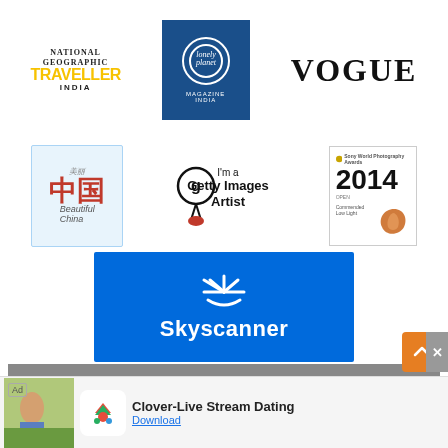[Figure (logo): National Geographic Traveller India logo with yellow TRAVELLER text]
[Figure (logo): Lonely Planet Magazine India logo on blue square background]
[Figure (logo): VOGUE magazine logo in large serif font]
[Figure (logo): Beautiful China (美丽中国) logo with Chinese characters on light blue background]
[Figure (logo): Getty Images Artist badge with medal icon]
[Figure (logo): Sony World Photography Awards 2014 Commended badge]
[Figure (logo): Skyscanner logo on blue background]
KEY BRAND COLLABORATION
[Figure (logo): Amazing Thailand tourism logo]
[Figure (logo): Peru tourism logo on red background]
[Figure (logo): Wonderful Indonesia tourism logo]
[Figure (logo): Mauritius tourism logo]